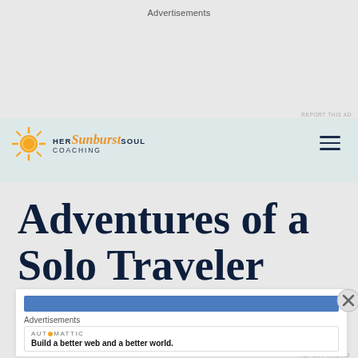Advertisements
[Figure (logo): Her Sunburst Soul Coaching logo with sun icon and stylized text]
Adventures of a Solo Traveler
Advertisements
AUTOMATTIC • Build a better web and a better world.
REPORT THIS AD